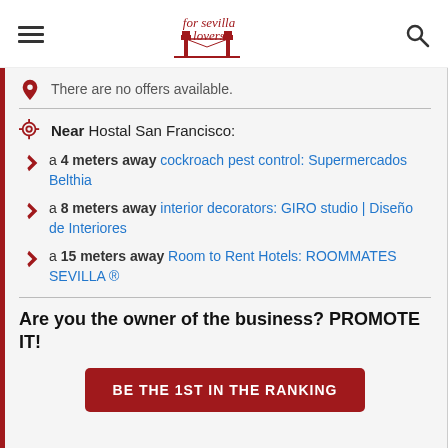for sevilla lovers — navigation header with hamburger menu and search icon
🏆 There are no offers available.
Near Hostal San Francisco:
a 4 meters away cockroach pest control: Supermercados Belthia
a 8 meters away interior decorators: GIRO studio | Diseño de Interiores
a 15 meters away Room to Rent Hotels: ROOMMATES SEVILLA ®
Are you the owner of the business? PROMOTE IT!
BE THE 1ST IN THE RANKING